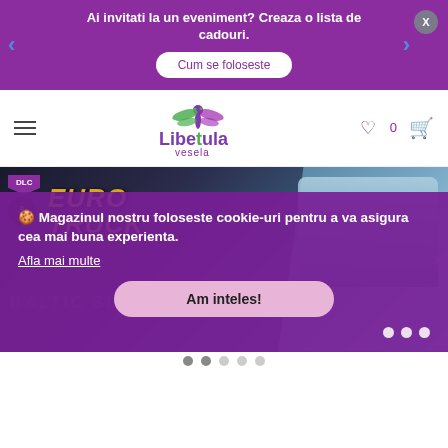Ai invitati la un eveniment? Creaza o lista de cadouri.
Cum se foloseste
[Figure (logo): Libelula Vesela logo with dragonfly illustration]
[Figure (screenshot): Euro Truck Simulator game banner / product image showing a truck and DLC badge]
🍪 Magazinul nostru foloseste cookie-uri pentru a va asigura cea mai buna experienta.
Afla mai multe
Am inteles!